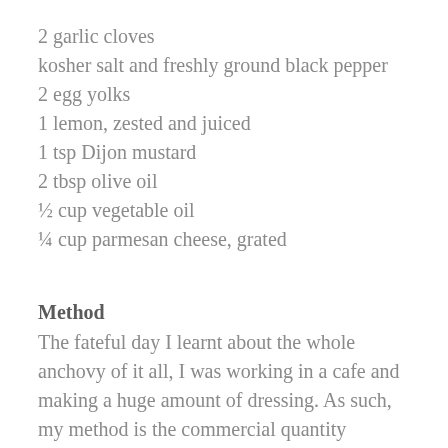2 garlic cloves
kosher salt and freshly ground black pepper
2 egg yolks
1 lemon, zested and juiced
1 tsp Dijon mustard
2 tbsp olive oil
½ cup vegetable oil
¼ cup parmesan cheese, grated
Method
The fateful day I learnt about the whole anchovy of it all, I was working in a cafe and making a huge amount of dressing. As such, my method is the commercial quantity version using a food processor or blender.
Start by blitzing the anchovy and garlic together with a pinch of salt over high speed. Reduce to low and